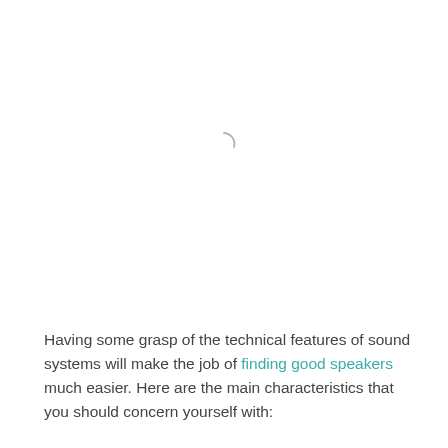[Figure (other): Loading spinner icon — a partial circle arc in light gray, resembling a crescent/loading indicator]
Having some grasp of the technical features of sound systems will make the job of finding good speakers much easier. Here are the main characteristics that you should concern yourself with: